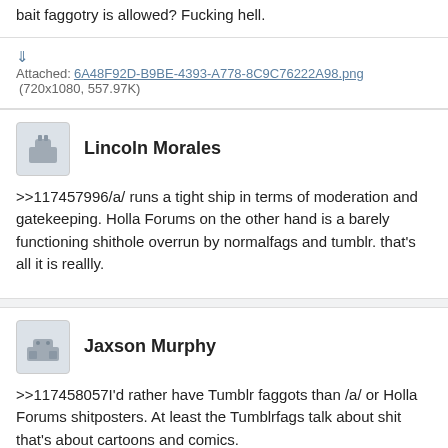bait faggotry is allowed? Fucking hell.
Attached: 6A48F92D-B9BE-4393-A778-8C9C76222A98.png (720x1080, 557.97K)
Lincoln Morales
>>117457996/a/ runs a tight ship in terms of moderation and gatekeeping. Holla Forums on the other hand is a barely functioning shithole overrun by normalfags and tumblr. that's all it is reallly.
Jaxson Murphy
>>117458057I'd rather have Tumblr faggots than /a/ or Holla Forums shitposters. At least the Tumblrfags talk about shit that's about cartoons and comics.
Attached: 4F25C110-B54E-4931-B595-ED43A1D4BB8F.png (853x449, 354.86K)